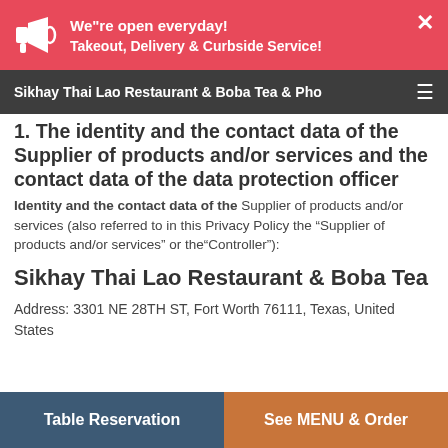We"re open everyday! Takeout, Delivery & Curbside Service!
Sikhay Thai Lao Restaurant & Boba Tea & Pho
1. The identity and the contact data of the Supplier of products and/or services and the contact data of the data protection officer
Identity and the contact data of the Supplier of products and/or services (also referred to in this Privacy Policy the “Supplier of products and/or services” or the“Controller”):
Sikhay Thai Lao Restaurant & Boba Tea
Address: 3301 NE 28TH ST, Fort Worth 76111, Texas, United States
Table Reservation | See MENU & Order